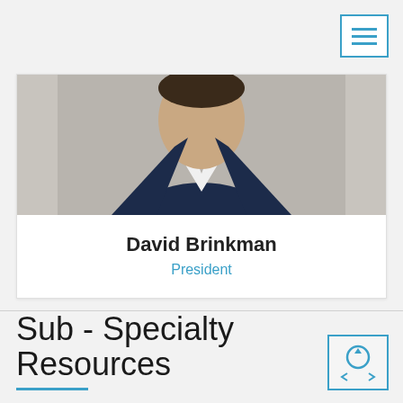[Figure (other): Hamburger menu icon — three horizontal lines inside a square border in blue]
[Figure (photo): Profile photo of David Brinkman cropped at torso showing white shirt and dark jacket on grey background]
David Brinkman
President
Sub - Specialty Resources
[Figure (other): Search/navigation icon with circular arrow and chevrons inside a square border]